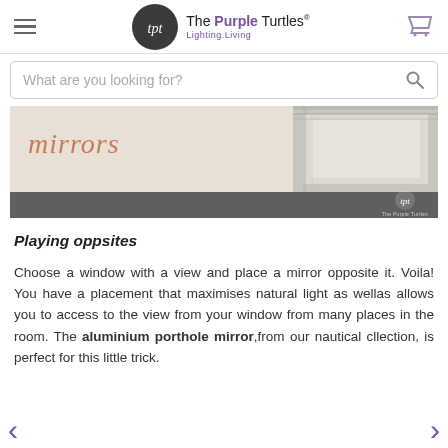The Purple Turtles® Lighting.Living
[Figure (screenshot): Banner image showing the word 'mirrors' in cursive coral text and a distressed white picture frame on the right, with The Purple Turtles logo in a dark grey footer strip]
Playing oppsites
Choose a window with a view and place a mirror opposite it. Voila! You have a placement that maximises natural light as wellas allows you to access to the view from your window from many places in the room. The aluminium porthole mirror,from our nautical cllection, is perfect for this little trick.